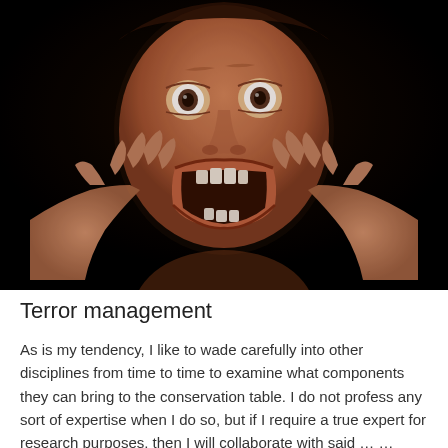[Figure (photo): A dramatic illustration of a distressed figure with wide open eyes and mouth, hands pulling at the sides of the face, against a black background — depicting fear or terror.]
Terror management
As is my tendency, I like to wade carefully into other disciplines from time to time to examine what components they can bring to the conservation table. I do not profess any sort of expertise when I do so, but if I require a true expert for research purposes, then I will collaborate with said … … Continue reading →